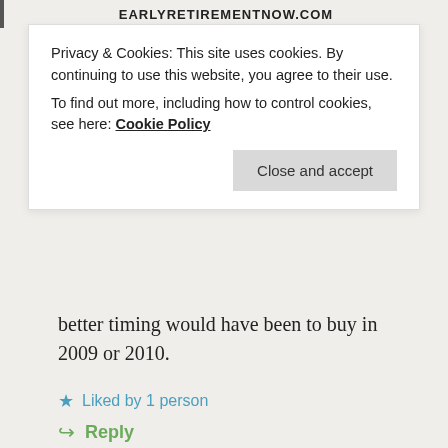EARLYRETIREMENTNOW.COM
Privacy & Cookies: This site uses cookies. By continuing to use this website, you agree to their use. To find out more, including how to control cookies, see here: Cookie Policy
Close and accept
better timing would have been to buy in 2009 or 2010.
Liked by 1 person
Reply
DAN
March 21, 2018 at 6:19 am
@Dave
As a Bay Area homeowner, it's certainly lucky to a